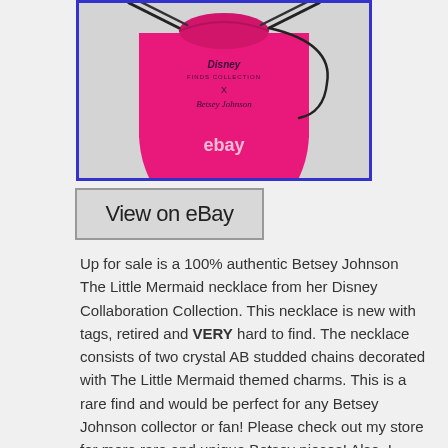[Figure (photo): A hot pink drawstring velvet pouch bag with black drawstrings at the top. The bag has text printed on it reading 'Disney Finds Collection X Betsey Johnson'. There is a white 'ebay' watermark overlaid on the lower center of the image. The bag is photographed against a white/light background.]
View on eBay
Up for sale is a 100% authentic Betsey Johnson The Little Mermaid necklace from her Disney Collaboration Collection. This necklace is new with tags, retired and VERY hard to find. The necklace consists of two crystal AB studded chains decorated with The Little Mermaid themed charms. This is a rare find and would be perfect for any Betsey Johnson collector or fan! Please check out my store for more rare and unique Betsey pieces! Also, I have the matching earrings listed :o. Please message me for a